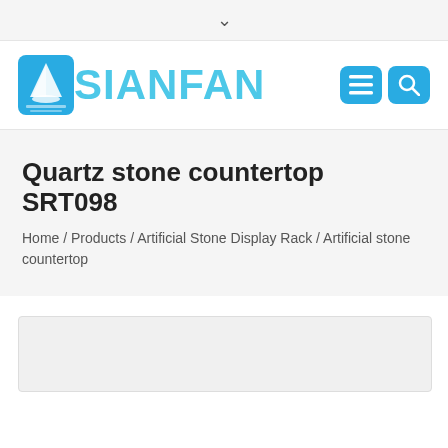[Figure (logo): TSIANFAN company logo with sailboat icon and light blue text reading TSIANFAN]
Quartz stone countertop SRT098
Home / Products / Artificial Stone Display Rack / Artificial stone countertop
[Figure (screenshot): Partial bottom area showing beginning of product image placeholder]